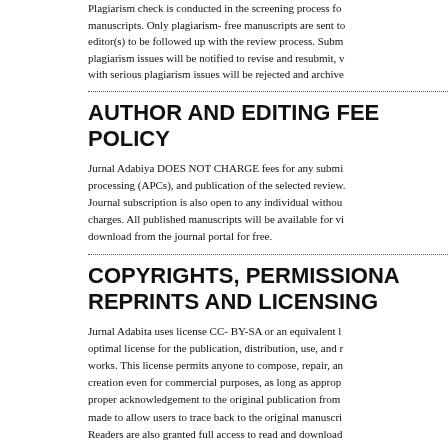Plagiarism check is conducted in the screening process for all manuscripts. Only plagiarism- free manuscripts are sent to editor(s) to be followed up with the review process. Submissions with plagiarism issues will be notified to revise and resubmit, while with serious plagiarism issues will be rejected and archived.
AUTHOR AND EDITING FEE POLICY
Jurnal Adabiya DOES NOT CHARGE fees for any submission, processing (APCs), and publication of the selected reviews. Journal subscription is also open to any individual without charges. All published manuscripts will be available for viewing and download from the journal portal for free.
COPYRIGHTS, PERMISSIONS, REPRINTS AND LICENSING
Jurnal Adabita uses license CC- BY-SA or an equivalent license as the optimal license for the publication, distribution, use, and reuse of works. This license permits anyone to compose, repair, and extend creation even for commercial purposes, as long as appropriate and proper acknowledgement to the original publication from are being made to allow users to trace back to the original manuscripts. Readers are also granted full access to read and download manuscripts, reprint and distribute the manuscript in any m
BUDAPEST OPEN ACCESS INITIATIVE